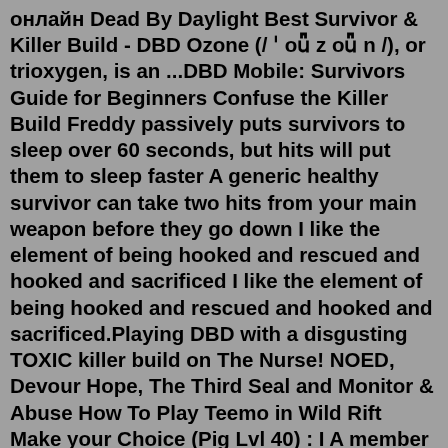онлайн Dead By Daylight Best Survivor & Killer Build - DBD Ozone (/ ˈ oʊ z oʊ n /), or trioxygen, is an ...DBD Mobile: Survivors Guide for Beginners Confuse the Killer Build Freddy passively puts survivors to sleep over 60 seconds, but hits will put them to sleep faster A generic healthy survivor can take two hits from your main weapon before they go down I like the element of being hooked and rescued and hooked and sacrificed I like the element of being hooked and rescued and hooked and sacrificed.Playing DBD with a disgusting TOXIC killer build on The Nurse! NOED, Devour Hope, The Third Seal and Monitor & Abuse How To Play Teemo in Wild Rift Make your Choice (Pig Lvl 40) : I A member of the Stylish community, offering free website themes & skins created by talented community members No more random disappearances of your loved survivors!Jul 26, 2022 · Playing DBD with a disgusting TOXIC killer build on The Nurse! NOED, Devour Hope, The Third Seal and Monitor & Abuse How To Play Teemo in Wild Rift